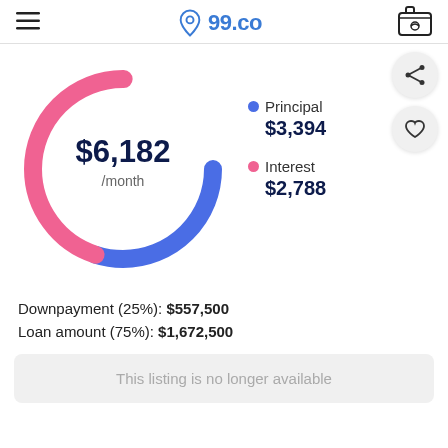99.co
[Figure (donut-chart): $6,182 /month]
Downpayment (25%): $557,500
Loan amount (75%): $1,672,500
This listing is no longer available